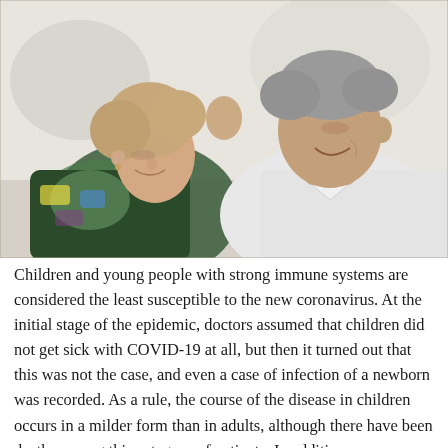[Figure (photo): An elderly couple leaning their foreheads together and smiling warmly. The woman is on the left with short blonde/grey hair wearing a patterned blouse; the man is on the right with short grey hair wearing a white collared shirt.]
Children and young people with strong immune systems are considered the least susceptible to the new coronavirus. At the initial stage of the epidemic, doctors assumed that children did not get sick with COVID-19 at all, but then it turned out that this was not the case, and even a case of infection of a newborn was recorded. As a rule, the course of the disease in children occurs in a milder form than in adults, although there have been deaths among this category of patients. In addition